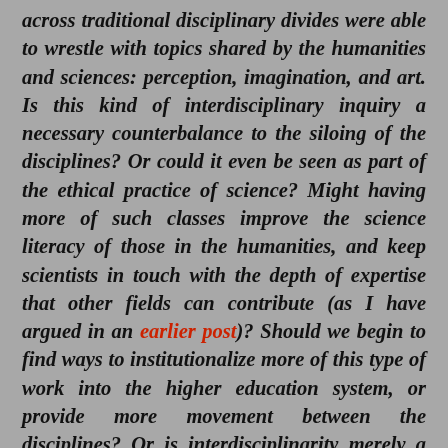across traditional disciplinary divides were able to wrestle with topics shared by the humanities and sciences: perception, imagination, and art. Is this kind of interdisciplinary inquiry a necessary counterbalance to the siloing of the disciplines? Or could it even be seen as part of the ethical practice of science? Might having more of such classes improve the science literacy of those in the humanities, and keep scientists in touch with the depth of expertise that other fields can contribute (as I have argued in an earlier post)? Should we begin to find ways to institutionalize more of this type of work into the higher education system, or provide more movement between the disciplines? Or is interdisciplinarity merely a fad? Readers: what do you think?